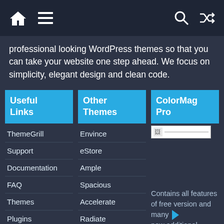Navigation bar with home, menu, search, and shuffle icons
professional looking WordPress themes so that you can take your website one step ahead. We focus on simplicity, elegant design and clean code.
Useful Links
Other Themes
ColorMag Pro
ThemeGrill
Envince
Support
eStore
Documentation
Ample
FAQ
Spacious
Themes
Accelerate
Plugins
Radiate
Blog
Esteem
Contains all features of free version and many new additional features.